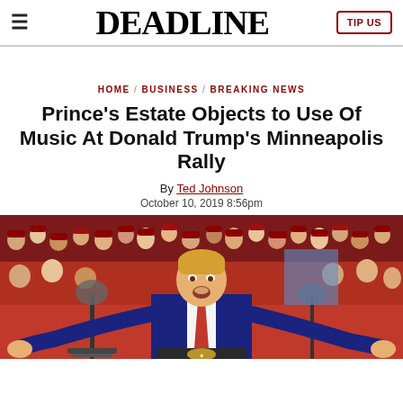≡  DEADLINE  TIP US
HOME / BUSINESS / BREAKING NEWS
Prince's Estate Objects to Use Of Music At Donald Trump's Minneapolis Rally
By Ted Johnson
October 10, 2019 8:56pm
[Figure (photo): Donald Trump speaking at a rally podium with arms outstretched, crowd in red shirts visible behind him]